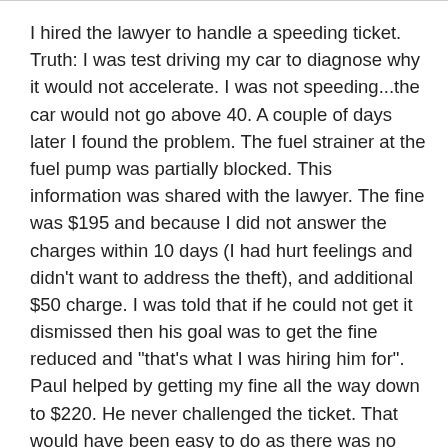I hired the lawyer to handle a speeding ticket. Truth: I was test driving my car to diagnose why it would not accelerate. I was not speeding...the car would not go above 40. A couple of days later I found the problem. The fuel strainer at the fuel pump was partially blocked. This information was shared with the lawyer. The fine was $195 and because I did not answer the charges within 10 days (I had hurt feelings and didn't want to address the theft), and additional $50 charge. I was told that if he could not get it dismissed then his goal was to get the fine reduced and "that's what I was hiring him for". Paul helped by getting my fine all the way down to $220. He never challenged the ticket. That would have been easy to do as there was no evidence. So given the cost to have Paul represent my best interest, the benefit was $25. Honestly I want Paul and every fellow American to be successful. I want to pay people for their goods and services and I want an even exchange. Unfortunately not